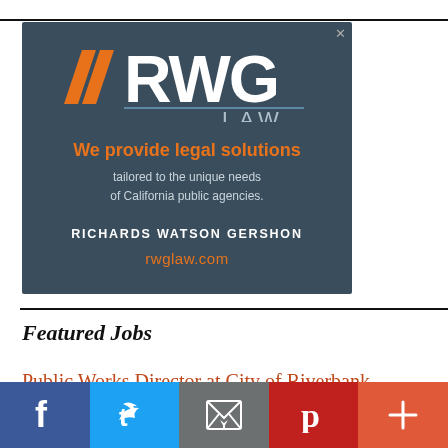[Figure (logo): RWG Law advertisement banner with dark blue-grey background. Orange chevron logo marks, RWG LAW text in white. Tagline: 'We provide legal solutions tailored to the unique needs of California public agencies.' Firm name: RICHARDS WATSON GERSHON. URL: rwglaw.com]
Featured Jobs
Public Works Director at City of Riverbank,
[Figure (other): Social sharing bar with Facebook (blue), Twitter (light blue), Email (grey), Pinterest (red), and More/Plus (orange-red) buttons.]